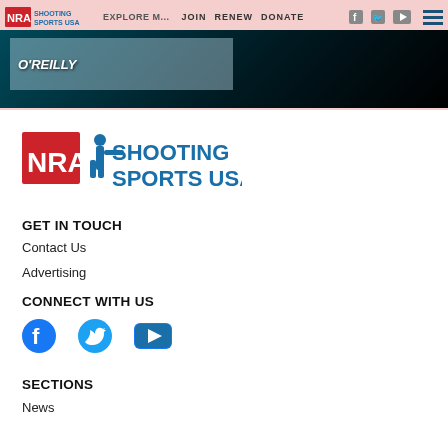NRA Shooting Sports USA | JOIN | RENEW | DONATE
[Figure (logo): NRA Shooting Sports USA logo (large, footer version)]
GET IN TOUCH
Contact Us
Advertising
CONNECT WITH US
[Figure (infographic): Social media icons: Facebook, Twitter, YouTube]
SECTIONS
News